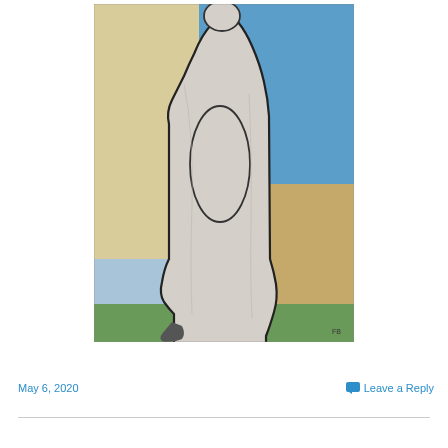[Figure (illustration): An abstract painting depicting a large white/grey monolithic figure, viewed from behind, bent forward. The figure has a rounded head and a vertical oval shape outlined on its back. A small dark foot is visible at the bottom left. The background is divided into sections of pale yellow/cream on the left, blue on the upper right, and tan/ochre on the lower right, with green at the base.]
May 6, 2020
Leave a Reply